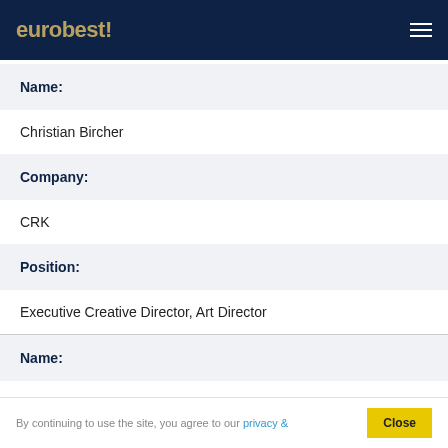eurobest
| Name: | Christian Bircher |
| Company: | CRK |
| Position: | Executive Creative Director, Art Director |
| Name: |  |
By continuing to use the site, you agree to our privacy &
Close